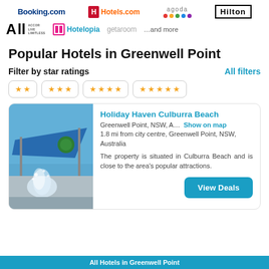[Figure (logo): Partner booking platform logos: Booking.com, Hotels.com, Agoda, Hilton, ALL Accor Live Limitless, Hotelopia, getaroom, and more]
Popular Hotels in Greenwell Point
Filter by star ratings
All filters
[Figure (infographic): Star rating filter buttons: 2 stars, 3 stars, 4 stars, 5 stars]
Holiday Haven Culburra Beach
Greenwell Point, NSW, A…   Show on map
1.8 mi from city centre, Greenwell Point, NSW, Australia
The property is situated in Culburra Beach and is close to the area's popular attractions.
View Deals
[Figure (photo): Hotel photo showing a water play area with blue shade sail and splashing water fountain]
All Hotels in Greenwell Point